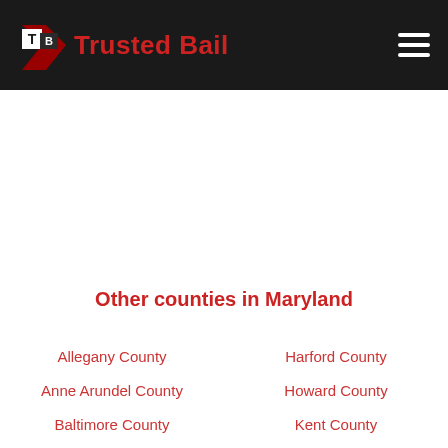Trusted Bail
Other counties in Maryland
Allegany County
Harford County
Anne Arundel County
Howard County
Baltimore County
Kent County